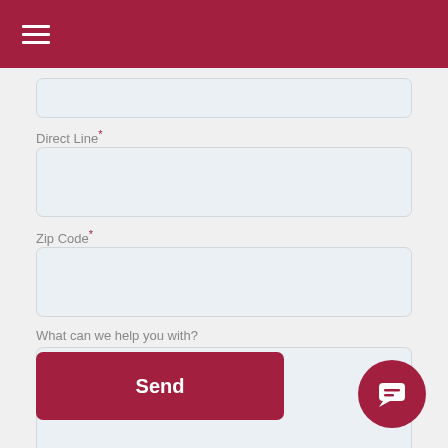Direct Line*
Zip Code*
What can we help you with?